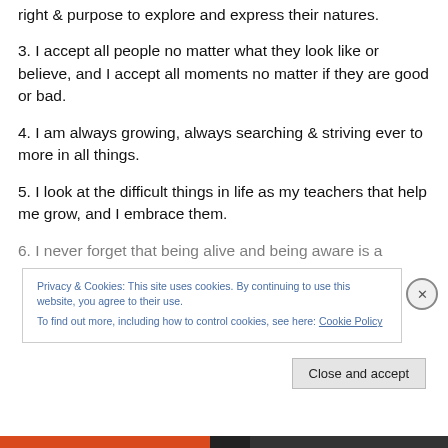right & purpose to explore and express their natures.
3. I accept all people no matter what they look like or believe, and I accept all moments no matter if they are good or bad.
4. I am always growing, always searching & striving ever to more in all things.
5. I look at the difficult things in life as my teachers that help me grow, and I embrace them.
6. I never forget that being alive and being aware is a
Privacy & Cookies: This site uses cookies. By continuing to use this website, you agree to their use.
To find out more, including how to control cookies, see here: Cookie Policy
Close and accept